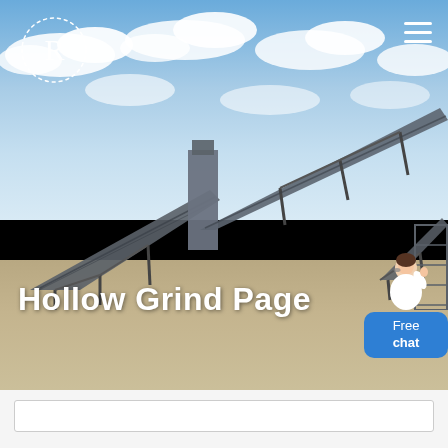[Figure (photo): Industrial conveyor belt system / mining equipment at a quarry or open-pit mine, with large conveyor belts angled upward against a partly cloudy blue sky, sandy desert ground below. Hero background image for a webpage.]
Hollow Grind Page